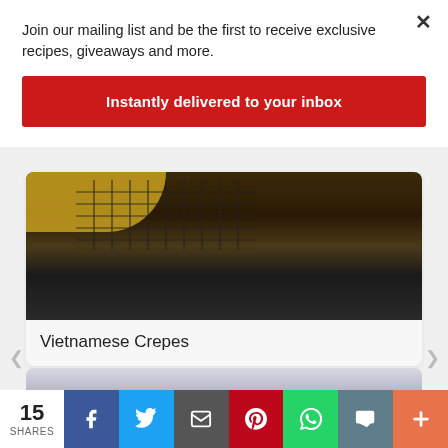Join our mailing list and be the first to receive exclusive recipes, giveaways and more.
Instantly delivered to your inbox
[Figure (photo): Dark overhead photo showing a wire cooling rack on a dark wood surface with a yellow/orange food item partially visible at top]
Vietnamese Crepes
[Figure (photo): Partial view of a dark non-stick pan on a light background, with a shopping bag icon visible]
15 SHARES